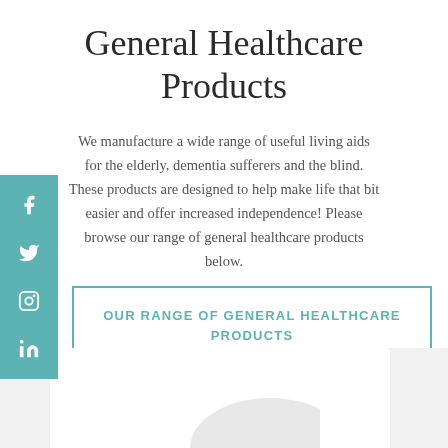General Healthcare Products
We manufacture a wide range of useful living aids for the elderly, dementia sufferers and the blind. These products are designed to help make life that bit easier and offer increased independence! Please browse our range of general healthcare products below.
OUR RANGE OF GENERAL HEALTHCARE PRODUCTS
[Figure (photo): Bottom section showing partial white card/product area on a light grey background]